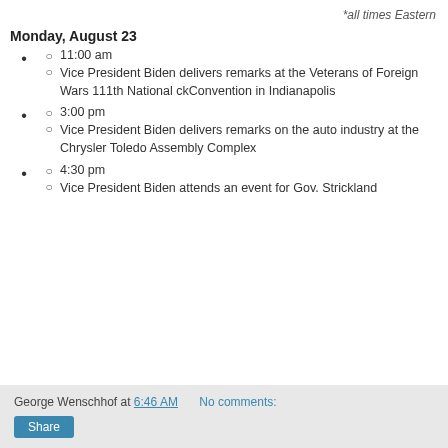*all times Eastern
Monday, August 23
11:00 am
Vice President Biden delivers remarks at the Veterans of Foreign Wars 111th National ckConvention in Indianapolis
3:00 pm
Vice President Biden delivers remarks on the auto industry at the Chrysler Toledo Assembly Complex
4:30 pm
Vice President Biden attends an event for Gov. Strickland
George Wenschhof at 6:46 AM   No comments:   Share